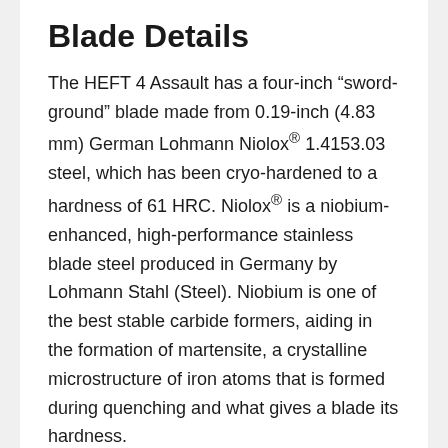Blade Details
The HEFT 4 Assault has a four-inch “sword-ground” blade made from 0.19-inch (4.83 mm) German Lohmann Niolox® 1.4153.03 steel, which has been cryo-hardened to a hardness of 61 HRC. Niolox® is a niobium-enhanced, high-performance stainless blade steel produced in Germany by Lohmann Stahl (Steel). Niobium is one of the best stable carbide formers, aiding in the formation of martensite, a crystalline microstructure of iron atoms that is formed during quenching and what gives a blade its hardness.
Although my HEFT came extremely sharp out